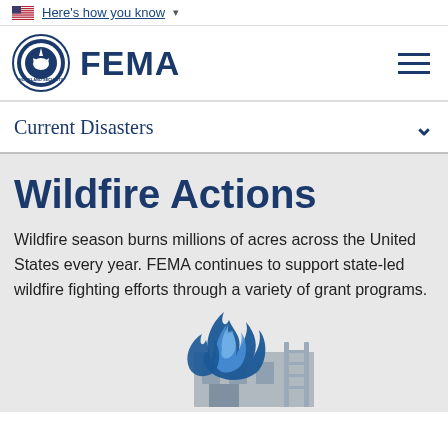Here's how you know
[Figure (logo): FEMA logo with DHS seal and FEMA wordmark, and hamburger menu icon]
Current Disasters
Wildfire Actions
Wildfire season burns millions of acres across the United States every year. FEMA continues to support state-led wildfire fighting efforts through a variety of grant programs.
[Figure (illustration): Illustration of blue flame icon over a house/building silhouette, representing wildfire actions]